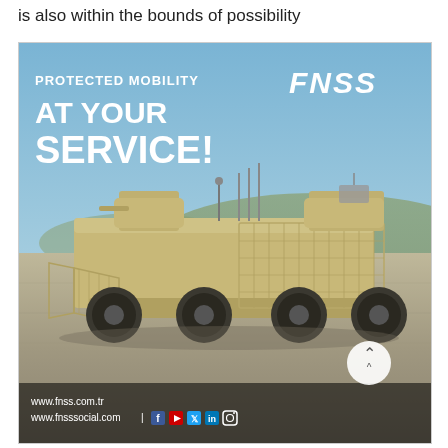is also within the bounds of possibility
[Figure (photo): FNSS advertisement showing a protected military wheeled vehicle (armored personnel carrier with slat armor cage) in a field setting. Text overlay reads 'PROTECTED MOBILITY AT YOUR SERVICE!' with FNSS logo. Bottom shows www.fnss.com.tr and www.fnsssocial.com with social media icons.]